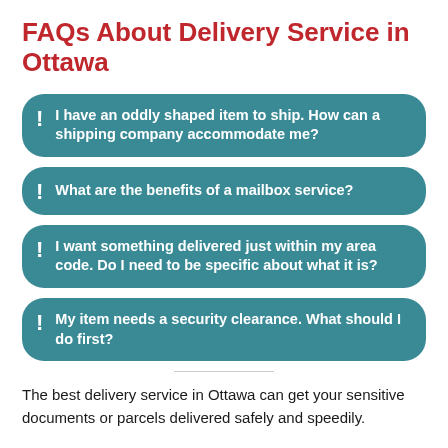FAQs About Delivery Service in Ottawa
I have an oddly shaped item to ship. How can a shipping company accommodate me?
What are the benefits of a mailbox service?
I want something delivered just within my area code. Do I need to be specific about what it is?
My item needs a security clearance. What should I do first?
The best delivery service in Ottawa can get your sensitive documents or parcels delivered safely and speedily.